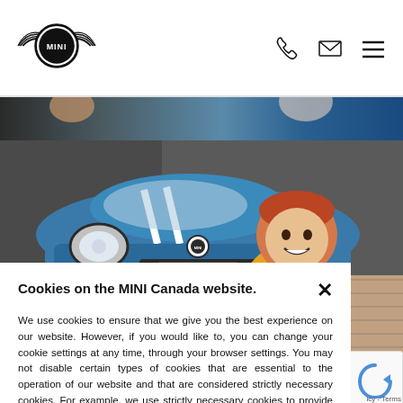[Figure (logo): MINI car brand logo with wings and circular emblem]
[Figure (photo): Navigation icons: phone, envelope, hamburger menu]
[Figure (photo): Partial cropped image of car interior/exterior hero strip]
[Figure (photo): Boy with red hair in yellow sweater riding toy car in front of blue MINI 5 Door car]
Cookies on the MINI Canada website.
We use cookies to ensure that we give you the best experience on our website. However, if you would like to, you can change your cookie settings at any time, through your browser settings. You may not disable certain types of cookies that are essential to the operation of our website and that are considered strictly necessary cookies. For example, we use strictly necessary cookies to provide you with regional pricing information. You can find detailed information about how cookies are used on this website by clicking here.